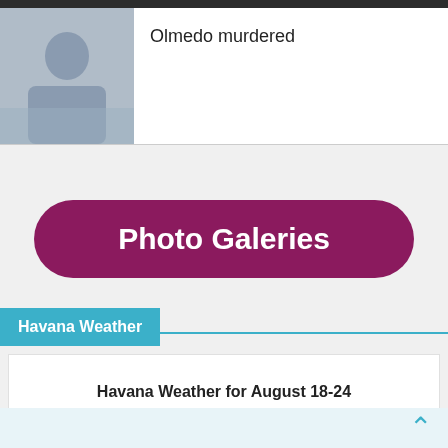[Figure (photo): Thumbnail photo of a person, grayish-blue tinted]
Olmedo murdered
Photo Galeries
Havana Weather
Havana Weather for August 18-24